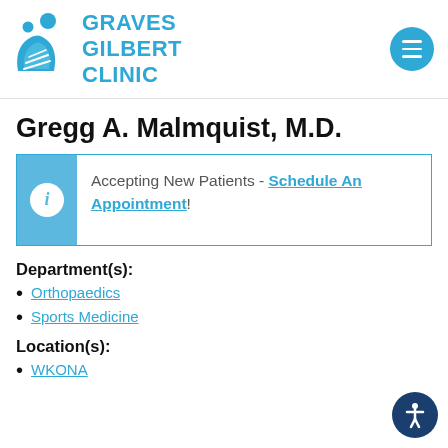[Figure (logo): Graves Gilbert Clinic logo with two stylized human figures and leaf/heart shapes in blue, followed by bold blue text reading GRAVES GILBERT CLINIC]
Gregg A. Malmquist, M.D.
Accepting New Patients - Schedule An Appointment!
Department(s):
Orthopaedics
Sports Medicine
Location(s):
WKONA